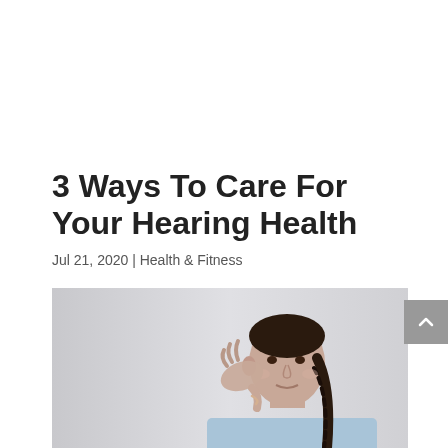3 Ways To Care For Your Hearing Health
Jul 21, 2020 | Health & Fitness
[Figure (photo): A woman with dark braided hair in a light blue top, pressing her hand to her ear in a listening gesture, photographed against a light grey background.]